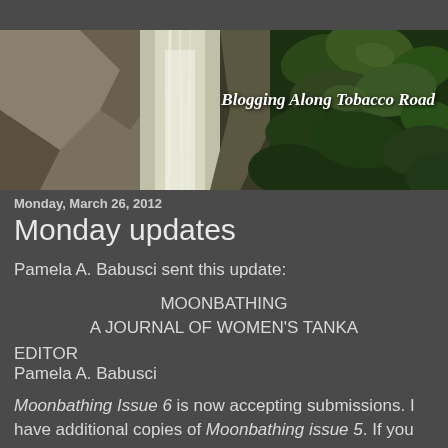[Figure (photo): Blog header banner image showing a waterfall with rocky cliffs on the left and green leaves on the right. Text overlay reads 'Blogging Along Tobacco Road' in italic bold serif font.]
Monday, March 26, 2012
Monday updates
Pamela A. Babusci sent this update:
MOONBATHING
A JOURNAL OF WOMEN'S TANKA
EDITOR
Pamela A. Babusci
Moonbathing Issue 6 is now accepting submissions. I have additional copies of Moonbathing issue 5. If you wish to